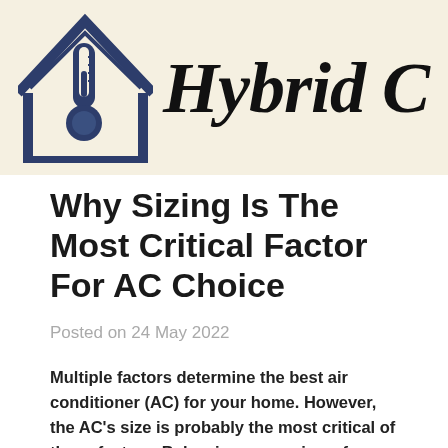[Figure (logo): House icon with thermometer inside (dark blue outline) next to the text 'Hybrid C' in large cursive/script black font on a cream/beige background banner]
Why Sizing Is The Most Critical Factor For AC Choice
Posted on 24 May 2022
Multiple factors determine the best air conditioner (AC) for your home. However, the AC's size is probably the most critical of these factors. Below is an overview of